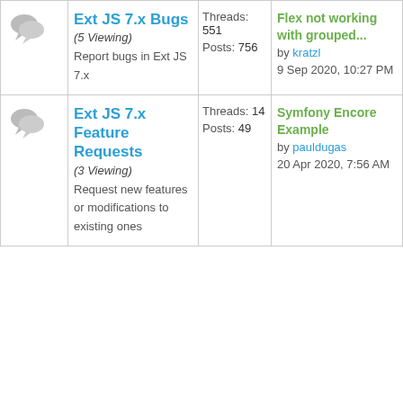|  | Forum | Stats | Last Post |
| --- | --- | --- | --- |
| [icon] | Ext JS 7.x Bugs (5 Viewing)
Report bugs in Ext JS 7.x | Threads: 551
Posts: 756 | Flex not working with grouped...
by kratzl
9 Sep 2020, 10:27 PM |
| [icon] | Ext JS 7.x Feature Requests (3 Viewing)
Request new features or modifications to existing ones | Threads: 14
Posts: 49 | Symfony Encore Example
by pauldugas
20 Apr 2020, 7:56 AM |